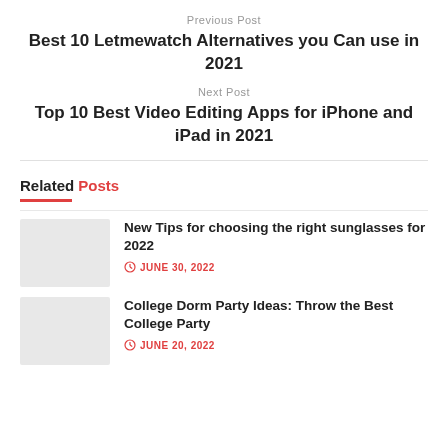Previous Post
Best 10 Letmewatch Alternatives you Can use in 2021
Next Post
Top 10 Best Video Editing Apps for iPhone and iPad in 2021
Related Posts
New Tips for choosing the right sunglasses for 2022
JUNE 30, 2022
College Dorm Party Ideas: Throw the Best College Party
JUNE 20, 2022